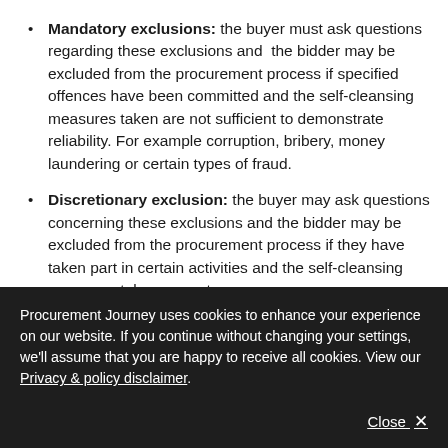Mandatory exclusions: the buyer must ask questions regarding these exclusions and the bidder may be excluded from the procurement process if specified offences have been committed and the self-cleansing measures taken are not sufficient to demonstrate reliability. For example corruption, bribery, money laundering or certain types of fraud.
Discretionary exclusion: the buyer may ask questions concerning these exclusions and the bidder may be excluded from the procurement process if they have taken part in certain activities and the self-cleansing measures taken are not
Procurement Journey uses cookies to enhance your experience on our website. If you continue without changing your settings, we'll assume that you are happy to receive all cookies. View our Privacy & policy disclaimer.